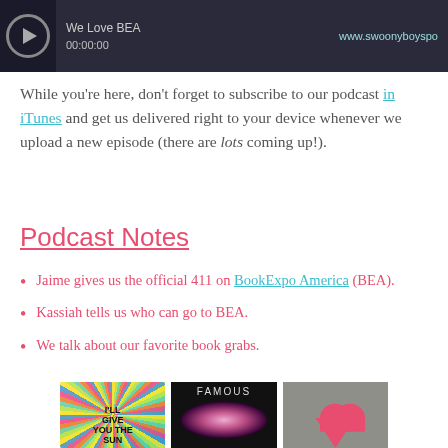[Figure (screenshot): Audio player bar with play button, track title 'We Love BEA', timestamp '00:00:00', and website URL 'www.swoonyboyspo']
While you're here, don't forget to subscribe to our podcast in iTunes and get us delivered right to your device whenever we upload a new episode (there are lots coming up!).
Podcast Notes
Jaime gives us the official 411 on BookExpo America (BEA).
Kassiah tells us who can go to BEA.
We talk about our favorite book grabs.
[Figure (photo): Three book covers shown side by side: 'I'll Give You the Sun' with colorful rays, 'Famous' with glowing heart on black background, and 'The Art of Pretending' with couple and pink heart.]